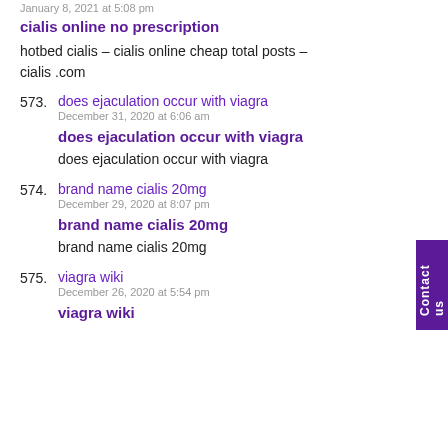January 8, 2021 at 5:08 pm
cialis online no prescription
hotbed cialis – cialis online cheap total posts – cialis .com
573. does ejaculation occur with viagra
December 31, 2020 at 6:06 am
does ejaculation occur with viagra
does ejaculation occur with viagra
574. brand name cialis 20mg
December 29, 2020 at 8:07 pm
brand name cialis 20mg
brand name cialis 20mg
575. viagra wiki
December 26, 2020 at 5:54 pm
viagra wiki